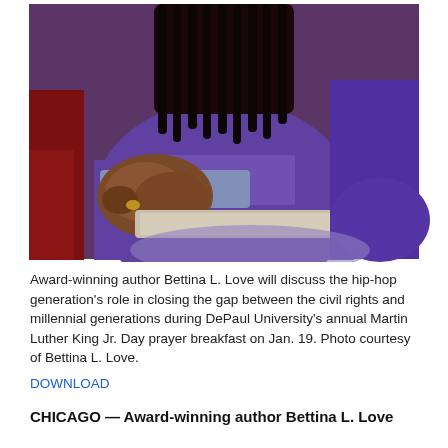[Figure (photo): Close-up photo of a person with dreadlocks wearing a purple long-sleeve shirt, hands clasped, seated at what appears to be a table or desk. Red background elements visible on the left side.]
Award-winning author Bettina L. Love will discuss the hip-hop generation's role in closing the gap between the civil rights and millennial generations during DePaul University's annual Martin Luther King Jr. Day prayer breakfast on Jan. 19. Photo courtesy of Bettina L. Love.
DOWNLOAD
CHICAGO — Award-winning author Bettina L. Love